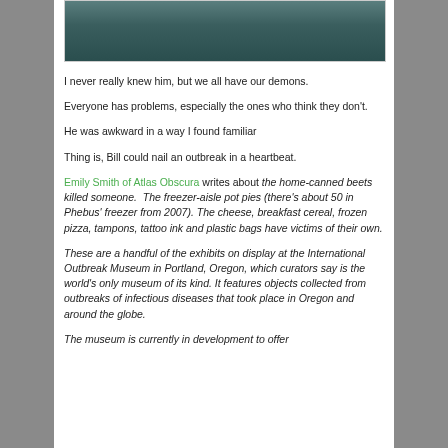[Figure (photo): Partial photo of a person wearing a hooded jacket, dark tones, top portion cropped]
I never really knew him, but we all have our demons.
Everyone has problems, especially the ones who think they don't.
He was awkward in a way I found familiar
Thing is, Bill could nail an outbreak in a heartbeat.
Emily Smith of Atlas Obscura writes about the home-canned beets killed someone.  The freezer-aisle pot pies (there's about 50 in Phebus' freezer from 2007). The cheese, breakfast cereal, frozen pizza, tampons, tattoo ink and plastic bags have victims of their own.
These are a handful of the exhibits on display at the International Outbreak Museum in Portland, Oregon, which curators say is the world's only museum of its kind. It features objects collected from outbreaks of infectious diseases that took place in Oregon and around the globe.
The museum is currently in development to offer...